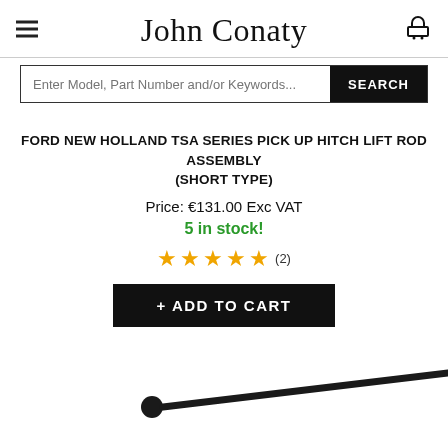John Conaty
FORD NEW HOLLAND TSA SERIES PICK UP HITCH LIFT ROD ASSEMBLY (SHORT TYPE)
Price: €131.00 Exc VAT
5 in stock!
[Figure (other): Five gold star rating with review count (2)]
+ ADD TO CART
[Figure (photo): Partial image of a metal lift rod assembly (short type), black, shown at bottom of page]